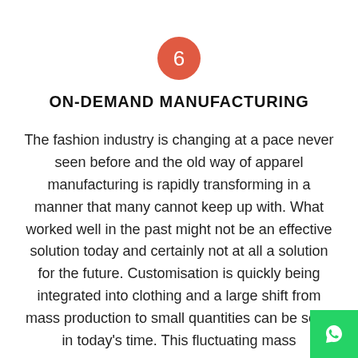[Figure (other): Orange/red circle with white number 6 inside]
ON-DEMAND MANUFACTURING
The fashion industry is changing at a pace never seen before and the old way of apparel manufacturing is rapidly transforming in a manner that many cannot keep up with. What worked well in the past might not be an effective solution today and certainly not at all a solution for the future. Customisation is quickly being integrated into clothing and a large shift from mass production to small quantities can be seen in today's time. This fluctuating mass
[Figure (logo): WhatsApp icon button in green square, bottom right corner]